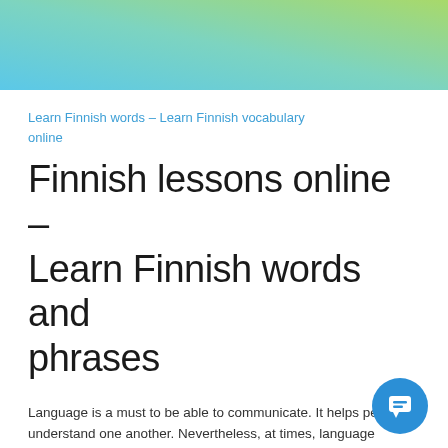[Figure (illustration): Gradient banner header transitioning from blue on the left to green on the right]
Learn Finnish words - Learn Finnish vocabulary online
Finnish lessons online – Learn Finnish words and phrases
Language is a must to be able to communicate. It helps people understand one another. Nevertheless, at times, language barriers can also become a major concern among people belonging to different parts of the world.
Since you're reading this post, we are taking the liberty to